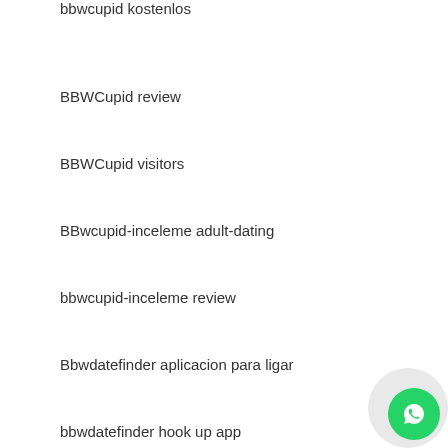bbwcupid kostenlos
BBWCupid review
BBWCupid visitors
BBwcupid-inceleme adult-dating
bbwcupid-inceleme review
Bbwdatefinder aplicacion para ligar
bbwdatefinder hook up app
bbwdatefinder preise
bbwdatefinder web
BBWDesire visitors
BDSM review